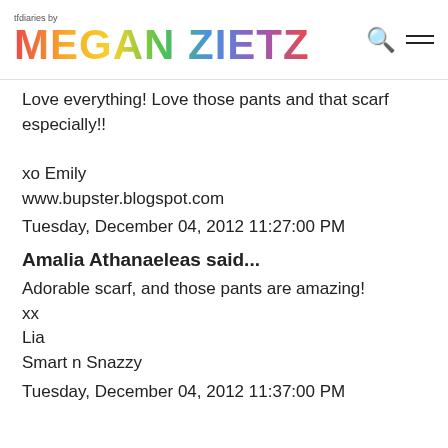tfdiaries by MEGAN ZIETZ
Love everything! Love those pants and that scarf especially!!

xo Emily
www.bupster.blogspot.com
Tuesday, December 04, 2012 11:27:00 PM
Amalia Athanaeleas said...
Adorable scarf, and those pants are amazing!
xx
Lia
Smart n Snazzy
Tuesday, December 04, 2012 11:37:00 PM